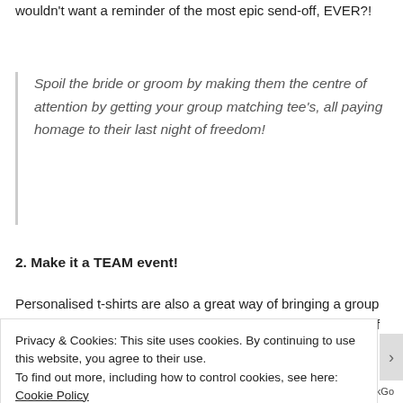wouldn't want a reminder of the most epic send-off, EVER?!
Spoil the bride or groom by making them the centre of attention by getting your group matching tee's, all paying homage to their last night of freedom!
2. Make it a TEAM event!
Personalised t-shirts are also a great way of bringing a group of people together! Often, the bride or groom will know lots of different types of
Privacy & Cookies: This site uses cookies. By continuing to use this website, you agree to their use.
To find out more, including how to control cookies, see here: Cookie Policy
Close and accept